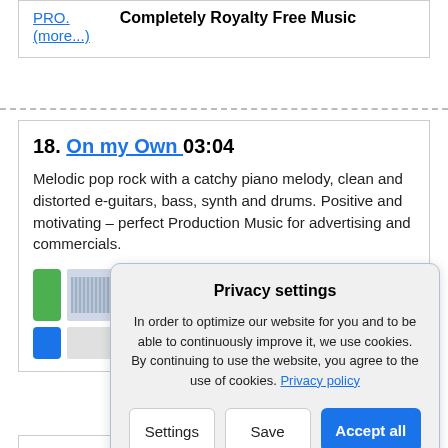PRO. (more...)
Completely Royalty Free Music
18. On my Own 03:04
Melodic pop rock with a catchy piano melody, clean and distorted e-guitars, bass, synth and drums. Positive and motivating – perfect Production Music for advertising and commercials.
[Figure (screenshot): Music player with green play button and waveform display, plus blue download button and progress bar]
Privacy settings
In order to optimize our website for you and to be able to continuously improve it, we use cookies. By continuing to use the website, you agree to the use of cookies. Privacy policy
Settings  Save  Accept all